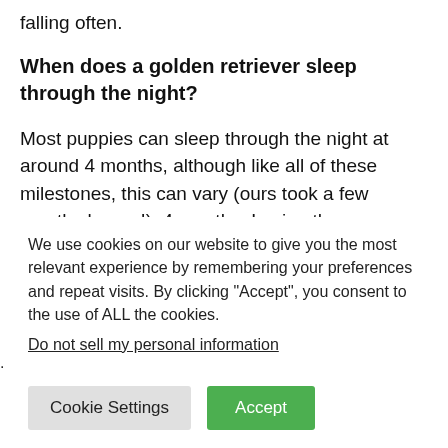falling often.
When does a golden retriever sleep through the night?
Most puppies can sleep through the night at around 4 months, although like all of these milestones, this can vary (ours took a few months longer!). 4 months: Losing the puppy teeth (and stop biting so much!)
We use cookies on our website to give you the most relevant experience by remembering your preferences and repeat visits. By clicking “Accept”, you consent to the use of ALL the cookies.
Do not sell my personal information.